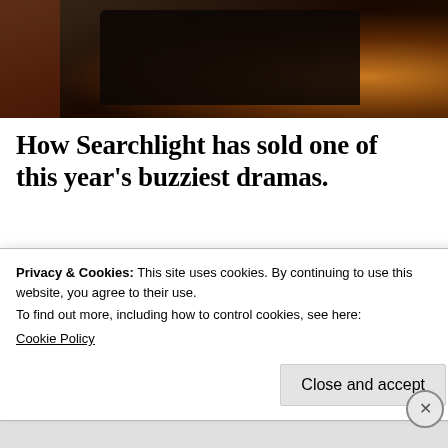[Figure (photo): Dark atmospheric photo showing a car silhouette against a warm orange/amber bokeh background at dusk or night]
How Searchlight has sold one of this year's buzziest dramas.
Frances McDormand
(Not
Privacy & Cookies: This site uses cookies. By continuing to use this website, you agree to their use.
To find out more, including how to control cookies, see here:
Cookie Policy
Close and accept